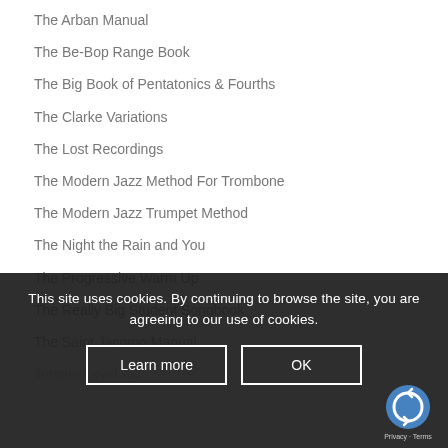The Arban Manual
The Be-Bop Range Book
The Big Book of Pentatonics & Fourths
The Clarke Variations
The Lost Recordings
The Modern Jazz Method For Trombone
The Modern Jazz Trumpet Method
The Night the Rain and You
The Progressive Warm Up
The Really Big Student Songbook
The Saint Jacomo Manual
Tongue Level Aid
This site uses cookies. By continuing to browse the site, you are agreeing to our use of cookies.
Learn more
OK